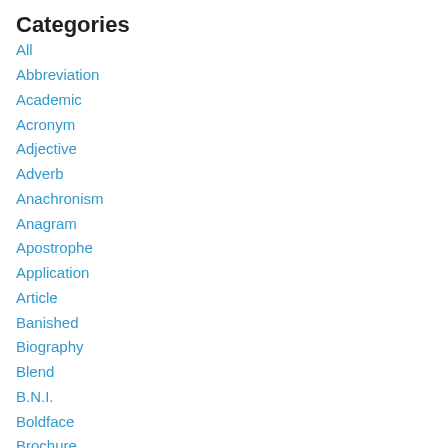Categories
All
Abbreviation
Academic
Acronym
Adjective
Adverb
Anachronism
Anagram
Apostrophe
Application
Article
Banished
Biography
Blend
B.N.I.
Boldface
Brochure
Bunnies
Business